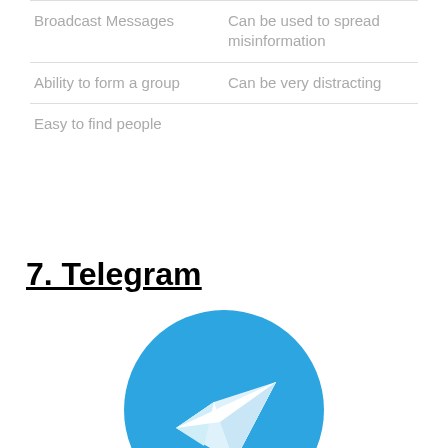| Broadcast Messages | Can be used to spread misinformation |
| Ability to form a group | Can be very distracting |
| Easy to find people |  |
7. Telegram
[Figure (logo): Telegram app logo: blue circle with white paper plane arrow icon]